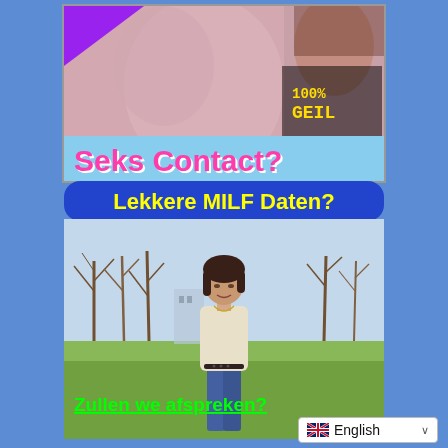[Figure (photo): Adult advertisement banner with woman photo and text '100% GEIL' and 'Seks Contact?' overlaid]
[Figure (photo): Dating advertisement showing 'Lekkere MILF Daten?' banner and photo of woman standing outdoors with text 'Zullen we afspreken?']
English (language selector dropdown)